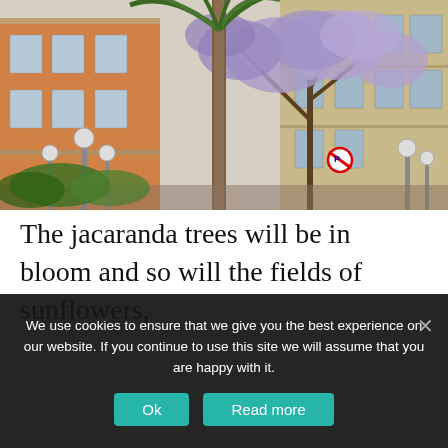[Figure (photo): Street scene with jacaranda trees in purple bloom, palm trees, and Mediterranean-style buildings (orange and beige facades with balconies). Street lamps and a no-parking sign visible.]
The jacaranda trees will be in bloom and so will the fields of sunflowers,
We use cookies to ensure that we give you the best experience on our website. If you continue to use this site we will assume that you are happy with it.